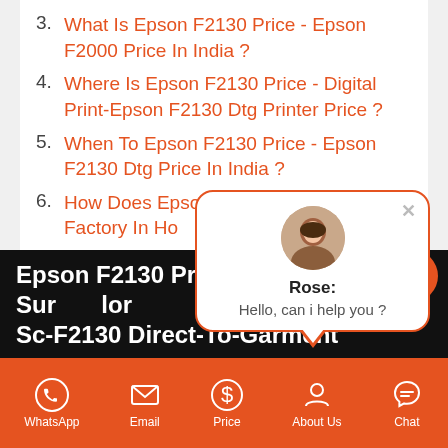3. What Is Epson F2130 Price - Epson F2000 Price In India ?
4. Where Is Epson F2130 Price - Digital Print-Epson F2130 Dtg Printer Price ?
5. When To Epson F2130 Price - Epson F2130 Dtg Price In India ?
6. How Does Epson F2130 Price - Shoes Factory In Ho...
7. How Much... Factories Pri...
[Figure (screenshot): Chat popup with avatar of Rose, saying 'Hello, can i help you ?']
Epson F2130 Price - Epson SureColor Sc-F2130 Direct-To-Garment...
WhatsApp  Email  Price  About Us  Chat